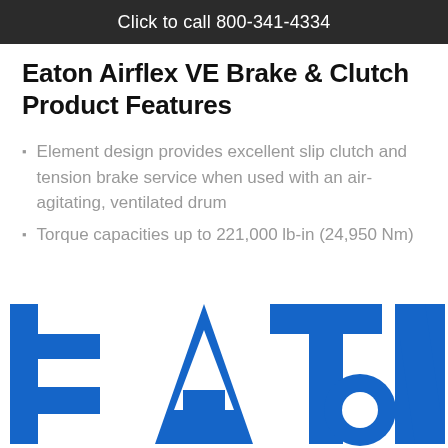Click to call 800-341-4334
Eaton Airflex VE Brake & Clutch Product Features
Element design provides excellent slip clutch and tension brake service when used with an air-agitating, ventilated drum
Torque capacities up to 221,000 lb-in (24,950 Nm)
[Figure (logo): Eaton logo in blue with large stylized letters E-A-T-O-N]